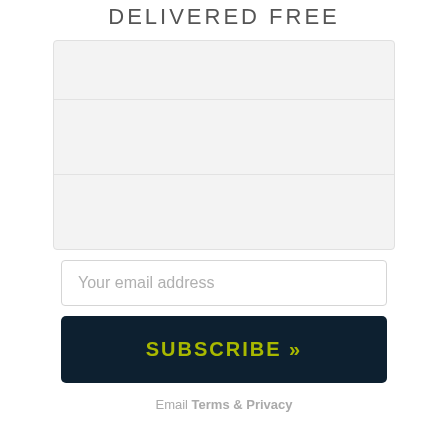DELIVERED FREE
[Figure (other): Three stacked input field placeholder areas with light gray background and dividing lines, representing a form]
Your email address
SUBSCRIBE »
Email Terms & Privacy